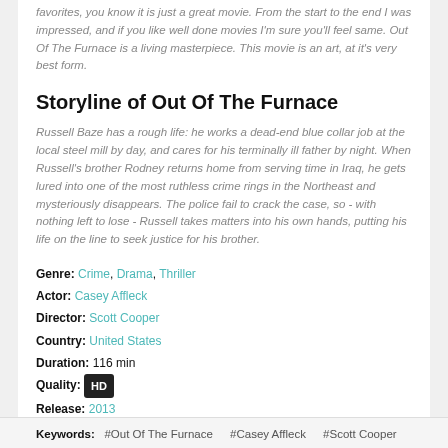favorites, you know it is just a great movie. From the start to the end I was impressed, and if you like well done movies I'm sure you'll feel same. Out Of The Furnace is a living masterpiece. This movie is an art, at it's very best form.
Storyline of Out Of The Furnace
Russell Baze has a rough life: he works a dead-end blue collar job at the local steel mill by day, and cares for his terminally ill father by night. When Russell's brother Rodney returns home from serving time in Iraq, he gets lured into one of the most ruthless crime rings in the Northeast and mysteriously disappears. The police fail to crack the case, so - with nothing left to lose - Russell takes matters into his own hands, putting his life on the line to seek justice for his brother.
Genre: Crime, Drama, Thriller
Actor: Casey Affleck
Director: Scott Cooper
Country: United States
Duration: 116 min
Quality: HD
Release: 2013
IMDb: 6.8
Keywords: #Out Of The Furnace #Casey Affleck #Scott Cooper